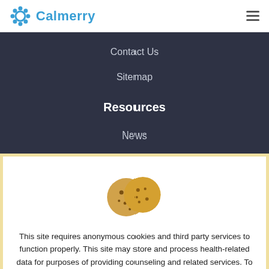Calmerry
Contact Us
Sitemap
Resources
News
[Figure (illustration): Cookie icon — two cookies, one with a bite taken out, rendered in golden/amber color]
This site requires anonymous cookies and third party services to function properly. This site may store and process health-related data for purposes of providing counseling and related services. To continue using Calmerry, you must consent to our Privacy Policy. You can opt-out at any time.
Reject
Approve